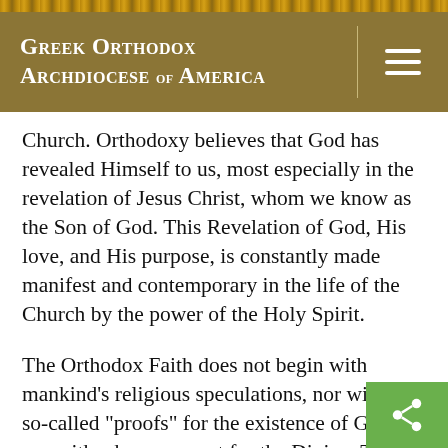Greek Orthodox Archdiocese of America
Church. Orthodoxy believes that God has revealed Himself to us, most especially in the revelation of Jesus Christ, whom we know as the Son of God. This Revelation of God, His love, and His purpose, is constantly made manifest and contemporary in the life of the Church by the power of the Holy Spirit.
The Orthodox Faith does not begin with mankind's religious speculations, nor with the so-called "proofs" for the existence of God, nor with a human quest for the Divine. The origin of the Orthodox Christian Faith is the Self-disclosure of God. Each day, the Church's Morning Prayer affirms and reminds us of by declaring, "God is the Lord and He has